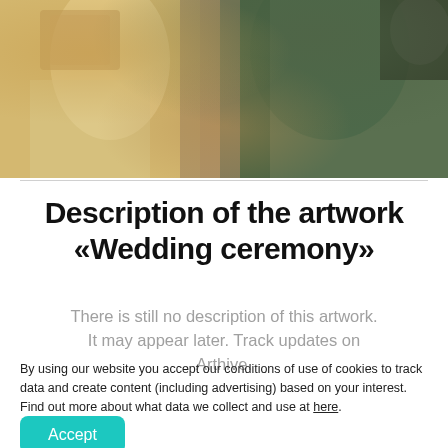[Figure (photo): Cropped painting or fresco showing figures in historical/religious scene with warm ochre and green tones, partial view of robed figures]
Description of the artwork «Wedding ceremony»
There is still no description of this artwork. It may appear later. Track updates on Arthive.
By using our website you accept our conditions of use of cookies to track data and create content (including advertising) based on your interest. Find out more about what data we collect and use at here.
Accept